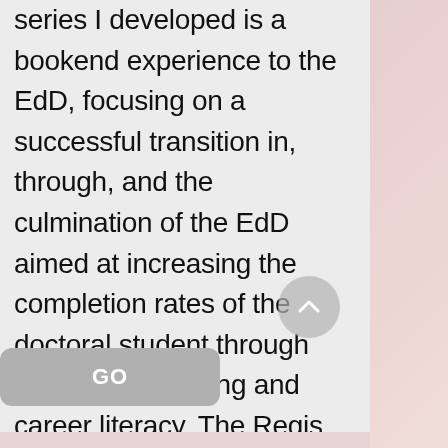series I developed is a bookend experience to the EdD, focusing on a successful transition in, through, and the culmination of the EdD aimed at increasing the completion rates of the doctoral student through intentional advising and career literacy. The Regis College EdD program currently has a 96% graduate completion rate.